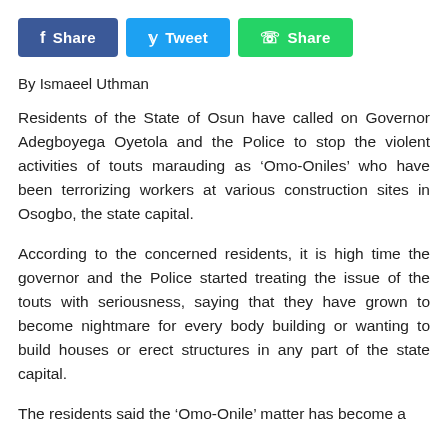[Figure (other): Social share buttons: Facebook Share (blue), Twitter Tweet (light blue), WhatsApp Share (green)]
By Ismaeel Uthman
Residents of the State of Osun have called on Governor Adegboyega Oyetola and the Police to stop the violent activities of touts marauding as ‘Omo-Oniles’ who have been terrorizing workers at various construction sites in Osogbo, the state capital.
According to the concerned residents, it is high time the governor and the Police started treating the issue of the touts with seriousness, saying that they have grown to become nightmare for every body building or wanting to build houses or erect structures in any part of the state capital.
The residents said the ‘Omo-Onile’ matter has become a